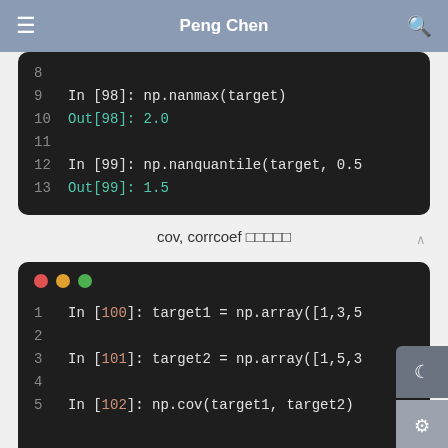Peng Chen
[Figure (screenshot): Dark-themed Jupyter notebook code block showing lines 8-13 with np.nanmax and np.nanquantile calls and their outputs]
cov, corrcoef 函数介绍
[Figure (screenshot): Dark-themed Jupyter notebook code block showing lines 1-5 with target1 and target2 np.array definitions and np.cov call]